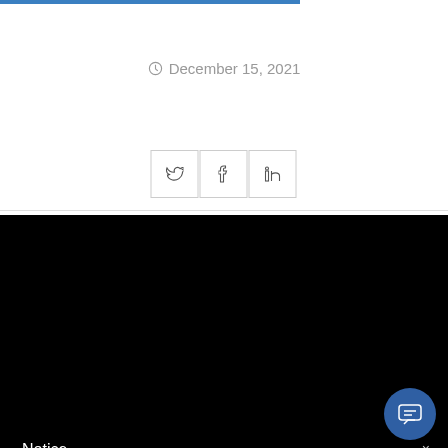December 15, 2021
[Figure (infographic): Social share buttons for Twitter, Facebook, and LinkedIn]
Notice
This website or its third-party tools use cookies, which are necessary to its functioning and required to achieve the purposes illustrated in the cookie policy. If you want to know more or withdraw your consent to all or some of the cookies, please refer to the cookie policy. By closing this banner, scrolling this page, clicking a link or continuing to browse otherwise, you agree to the use of co